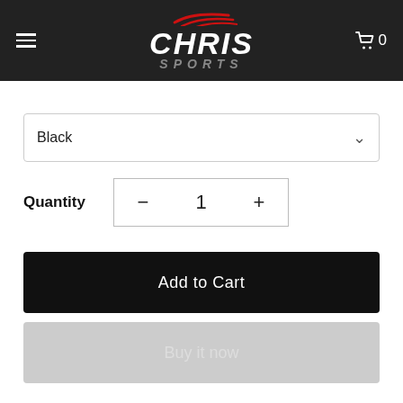[Figure (logo): Chris Sports logo — white bold italic text CHRIS with red swoosh lines above and SPORTS in gray below, on dark background. Hamburger menu icon on left, cart icon with 0 on right.]
Black
Quantity  −  1  +
Add to Cart
Buy it now